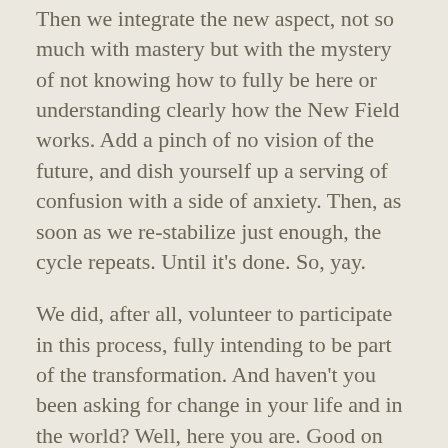Then we integrate the new aspect, not so much with mastery but with the mystery of not knowing how to fully be here or understanding clearly how the New Field works. Add a pinch of no vision of the future, and dish yourself up a serving of confusion with a side of anxiety. Then, as soon as we re-stabilize just enough, the cycle repeats. Until it's done. So, yay.
We did, after all, volunteer to participate in this process, fully intending to be part of the transformation. And haven't you been asking for change in your life and in the world? Well, here you are. Good on ya. I'm sure it sounded easier in theory. You've also heard of living in the moment? That would be now. And FYI, practicing such has been made easier since in the New Field there really is no option. That helps.
Our part here at Lightsmith has been to offer assistance for the transformation through the many waves of process.